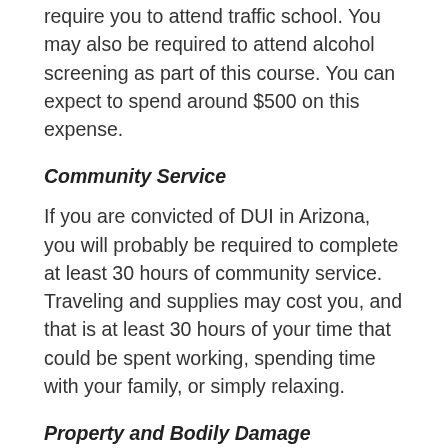require you to attend traffic school. You may also be required to attend alcohol screening as part of this course. You can expect to spend around $500 on this expense.
Community Service
If you are convicted of DUI in Arizona, you will probably be required to complete at least 30 hours of community service. Traveling and supplies may cost you, and that is at least 30 hours of your time that could be spent working, spending time with your family, or simply relaxing.
Property and Bodily Damage
Drinking and driving is illegal because it increases the likelihood of an accident, so it's no surprise that